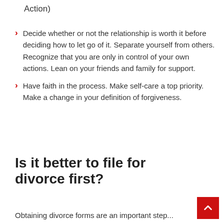Action)
Decide whether or not the relationship is worth it before deciding how to let go of it. Separate yourself from others. Recognize that you are only in control of your own actions. Lean on your friends and family for support.
Have faith in the process. Make self-care a top priority. Make a change in your definition of forgiveness.
Is it better to file for divorce first?
Obtaining divorce forms are an important step...